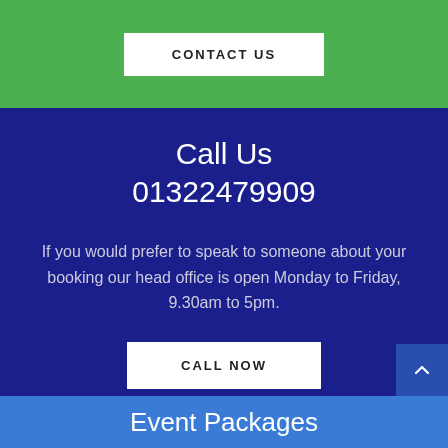CONTACT US
Call Us
01322479909
If you would prefer to speak to someone about your booking our head office is open Monday to Friday, 9.30am to 5pm.
CALL NOW
Event Packages